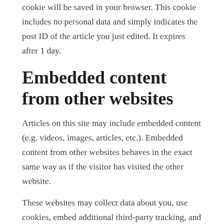cookie will be saved in your browser. This cookie includes no personal data and simply indicates the post ID of the article you just edited. It expires after 1 day.
Embedded content from other websites
Articles on this site may include embedded content (e.g. videos, images, articles, etc.). Embedded content from other websites behaves in the exact same way as if the visitor has visited the other website.
These websites may collect data about you, use cookies, embed additional third-party tracking, and monitor your interaction with that